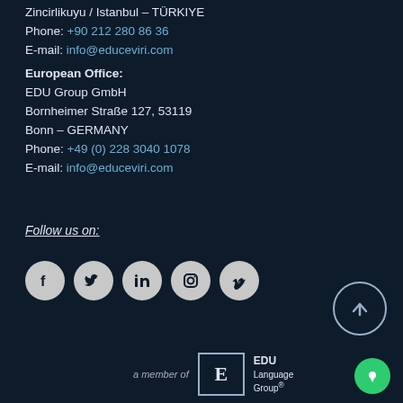Zincirlikuyu / Istanbul – TURKIYE
Phone: +90 212 280 86 36
E-mail: info@educeviri.com
European Office:
EDU Group GmbH
Bornheimer Straße 127, 53119
Bonn – GERMANY
Phone: +49 (0) 228 3040 1078
E-mail: info@educeviri.com
Follow us on:
[Figure (illustration): Five white circular social media icon buttons: Facebook, Twitter, LinkedIn, Instagram, Vimeo]
[Figure (illustration): Up-arrow circle button (scroll to top)]
[Figure (logo): EDU Language Group logo with text 'a member of' and boxed E letter]
[Figure (illustration): Green chat bubble icon in bottom right]